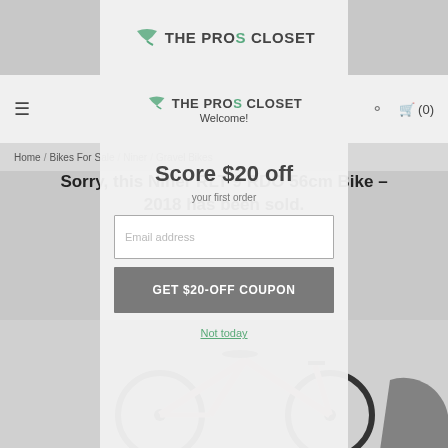THE PROS CLOSET
THE PROS CLOSET — Welcome!
Home / Bikes For Sale / Niner / Gravel Bikes
Score $20 off
Sorry, this Niner RLT 9 RDO 56cm Bike - 2018 has been sold.
Try these similar items:
Email address
GET $20-OFF COUPON
Not today
[Figure (photo): Pink/light-colored gravel bike (Specialized) partially visible at bottom of page]